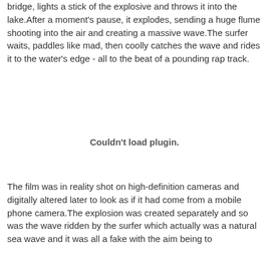bridge, lights a stick of the explosive and throws it into the lake.After a moment's pause, it explodes, sending a huge flume shooting into the air and creating a massive wave.The surfer waits, paddles like mad, then coolly catches the wave and rides it to the water's edge - all to the beat of a pounding rap track.
[Figure (other): Couldn't load plugin. — placeholder for an embedded media plugin that failed to load.]
The film was in reality shot on high-definition cameras and digitally altered later to look as if it had come from a mobile phone camera.The explosion was created separately and so was the wave ridden by the surfer which actually was a natural sea wave and it was all a fake with the aim being to